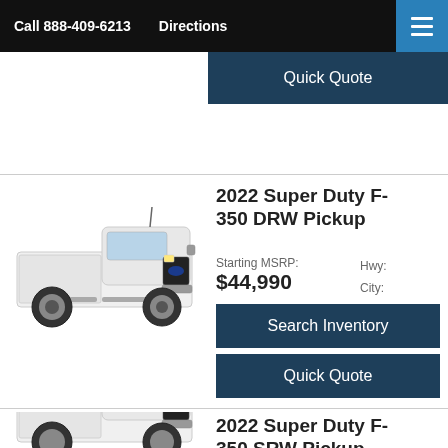Call 888-409-6213   Directions
Quick Quote
2022 Super Duty F-350 DRW Pickup
Starting MSRP: $44,990
Hwy:
City:
[Figure (photo): White 2022 Ford Super Duty F-350 DRW pickup truck, side/front view on white background]
Search Inventory
Quick Quote
2022 Super Duty F-350 SRW Pickup
Starting MSRP:
Hwy:
[Figure (photo): White 2022 Ford Super Duty F-350 SRW pickup truck, partial view]